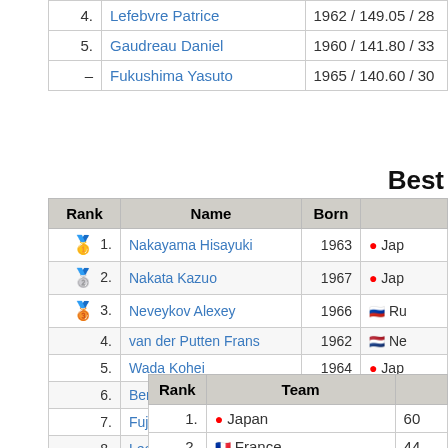| Rank | Name | Info |
| --- | --- | --- |
| 4. | Lefebvre Patrice | 1962 / 149.05 / 28... |
| 5. | Gaudreau Daniel | 1960 / 141.80 / 33... |
| – | Fukushima Yasuto | 1965 / 140.60 / 30... |
Best
| Rank | Name | Born | Country |
| --- | --- | --- | --- |
| 🥇 1. | Nakayama Hisayuki | 1963 | 🇯🇵 Jap... |
| 🥈 2. | Nakata Kazuo | 1967 | 🇯🇵 Jap... |
| 🥉 3. | Neveykov Alexey | 1966 | 🇷🇺 Ru... |
| 4. | van der Putten Frans | 1962 | 🇳🇱 Ne... |
| 5. | Wada Kohei | 1964 | 🇯🇵 Jap... |
| 6. | Bertin Fabrice | 1967 | 🇫🇷 Fra... |
| 7. | Fujiwara Eiji | 1968 | 🇯🇵 Jap... |
| 8. | Leesmann Kaido | 1969 | 🇪🇪 Es... |
| 9. | Cserna Janos | 1968 | 🇭🇺 Hu... |
| 10. | Marneur Michel | 1968 | 🇫🇷 Fra... |
| Rank | Team | Score |
| --- | --- | --- |
| 1. | 🇯🇵 Japan | 60... |
| 2. | 🇫🇷 France | 44... |
| 3. | 🇺🇸 U.S.America | 42... |